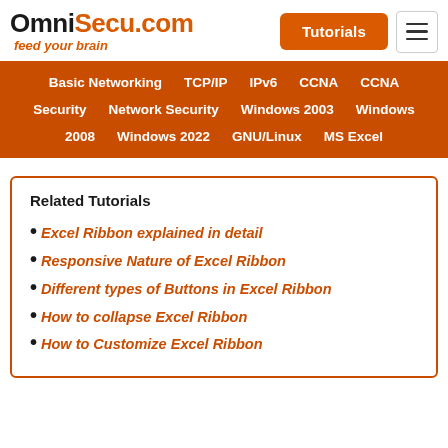OmniSecu.com feed your brain
Tutorials
Basic Networking  TCP/IP  IPv6  CCNA  CCNA Security  Network Security  Windows 2003  Windows 2008  Windows 2022  GNU/Linux  MS Excel
Related Tutorials
Excel Ribbon explained in detail
Responsive Nature of Excel Ribbon
Different types of Buttons in Excel Ribbon
How to collapse Excel Ribbon
How to Customize Excel Ribbon